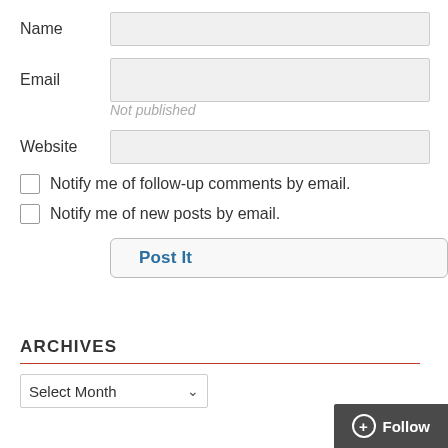Name
[Figure (other): Empty text input field for Name]
Email
[Figure (other): Empty text input field for Email]
Not published
Website
[Figure (other): Empty text input field for Website]
Notify me of follow-up comments by email.
Notify me of new posts by email.
[Figure (other): Post It button]
ARCHIVES
[Figure (other): Select Month dropdown]
[Figure (other): Follow button in bottom right corner]